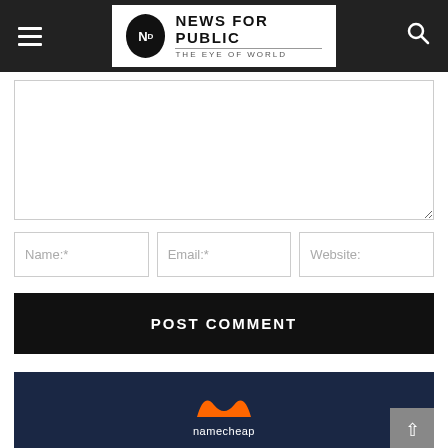[Figure (logo): News For Public - The Eye of World logo with navigation header bar including hamburger menu and search icon]
[Figure (screenshot): Comment form textarea (empty), Name, Email, Website input fields, and POST COMMENT button]
[Figure (illustration): Namecheap advertisement banner with dark navy background showing orange Namecheap N logo and namecheap text]